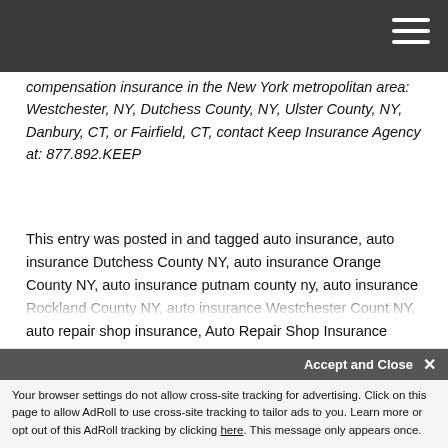[Navigation bar with hamburger menu]
compensation insurance in the New York metropolitan area: Westchester, NY, Dutchess County, NY, Ulster County, NY, Danbury, CT, or Fairfield, CT, contact Keep Insurance Agency at: 877.892.KEEP
This entry was posted in and tagged auto insurance, auto insurance Dutchess County NY, auto insurance Orange County NY, auto insurance putnam county ny, auto insurance Rockland County NY, auto insurance Westchester Count NY, auto repair shop insurance, Auto Repair Shop Insurance Dutchess County NY, auto repair shop insurance Orange County NY, Auto Repair Shop Insurance Westchester County NY, auto shop repair insurance Putnam County, auto shop repair insurance Rockland County NY, business insurance, business insurance Dutchess County NY, business insurance Orange County NY,
Accept and Close ×
Your browser settings do not allow cross-site tracking for advertising. Click on this page to allow AdRoll to use cross-site tracking to tailor ads to you. Learn more or opt out of this AdRoll tracking by clicking here. This message only appears once.